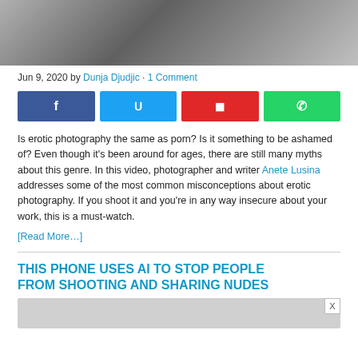[Figure (photo): Black and white photo of a person, partially cropped at top of page]
Jun 9, 2020 by Dunja Djudjic · 1 Comment
[Figure (infographic): Social share buttons: Facebook (blue), Twitter (light blue), Flipboard (red), WhatsApp (green)]
Is erotic photography the same as porn? Is it something to be ashamed of? Even though it's been around for ages, there are still many myths about this genre. In this video, photographer and writer Anete Lusina addresses some of the most common misconceptions about erotic photography. If you shoot it and you're in any way insecure about your work, this is a must-watch.
[Read More…]
THIS PHONE USES AI TO STOP PEOPLE FROM SHOOTING AND SHARING NUDES
[Figure (photo): Partially visible image below the second article title, with an X close button]